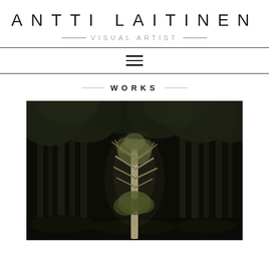ANTTI LAITINEN
VISUAL ARTIST
WORKS
[Figure (photo): A dark forest scene at night with a single illuminated birch or young pine tree in the center foreground, surrounded by tall dark conifer trunks in the background.]